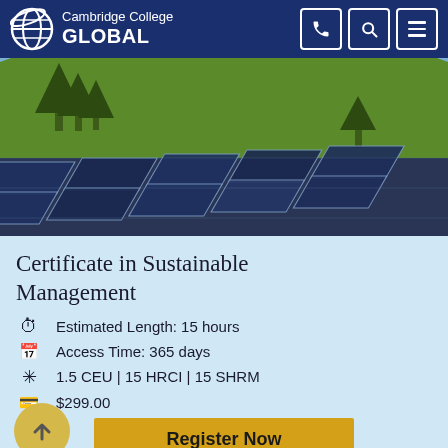Cambridge College GLOBAL
[Figure (photo): Solar panels in front of a green hillside with trees and blue sky]
Certificate in Sustainable Management
Estimated Length: 15 hours
Access Time: 365 days
1.5 CEU | 15 HRCI | 15 SHRM
$299.00
Register Now